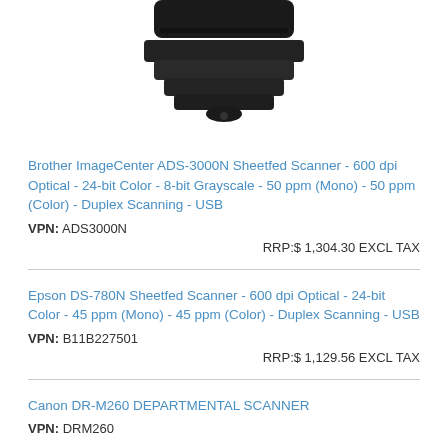[Figure (photo): Bottom view of a black Brother sheetfed scanner device showing stacked paper tray elements]
Brother ImageCenter ADS-3000N Sheetfed Scanner - 600 dpi Optical - 24-bit Color - 8-bit Grayscale - 50 ppm (Mono) - 50 ppm (Color) - Duplex Scanning - USB
VPN: ADS3000N
RRP:$ 1,304.30 EXCL TAX
Epson DS-780N Sheetfed Scanner - 600 dpi Optical - 24-bit Color - 45 ppm (Mono) - 45 ppm (Color) - Duplex Scanning - USB
VPN: B11B227501
RRP:$ 1,129.56 EXCL TAX
Canon DR-M260 DEPARTMENTAL SCANNER
VPN: DRM260